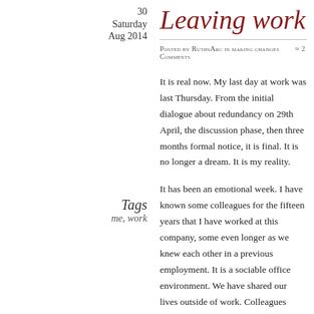30
Saturday
Aug 2014
Leaving work
Posted by RuthsArc in making changes   ≈ 2 Comments
Tags
me, work
It is real now. My last day at work was last Thursday. From the initial dialogue about redundancy on 29th April, the discussion phase, then three months formal notice, it is final. It is no longer a dream. It is my reality.
It has been an emotional week. I have known some colleagues for the fifteen years that I have worked at this company, some even longer as we knew each other in a previous employment. It is a sociable office environment. We have shared our lives outside of work. Colleagues became friends.
Colleagues have grown up, have married, have had